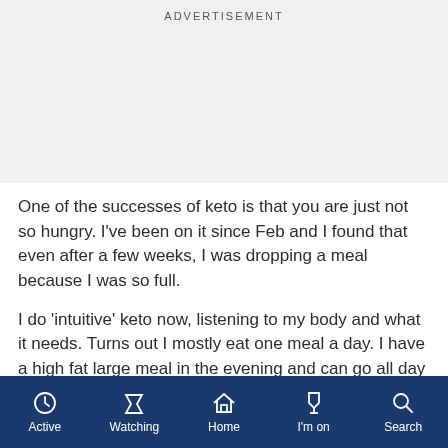ADVERTISEMENT
One of the successes of keto is that you are just not so hungry. I've been on it since Feb and I found that even after a few weeks, I was dropping a meal because I was so full.
I do 'intuitive' keto now, listening to my body and what it needs. Turns out I mostly eat one meal a day. I have a high fat large meal in the evening and can go all day (most days) without eating. This frees up lots of time, saves money etc.
I am not saying that this is where you will end up, all of us are different, but keto is like no other diet in that you are
Active  Watching  Home  I'm on  Search